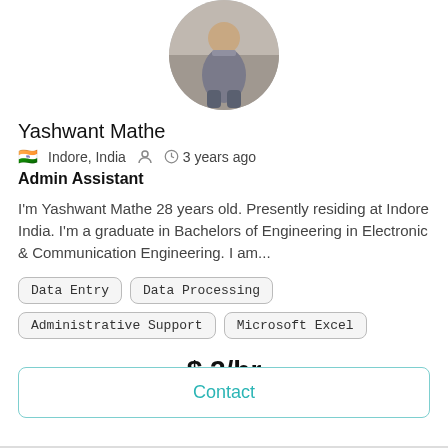[Figure (photo): Circular profile photo of a person sitting outdoors]
Yashwant Mathe
🇮🇳 Indore, India   👤   🕐 3 years ago
Admin Assistant
I'm Yashwant Mathe 28 years old. Presently residing at Indore India. I'm a graduate in Bachelors of Engineering in Electronic & Communication Engineering. I am...
Data Entry
Data Processing
Administrative Support
Microsoft Excel
$ 2/hr
Contact